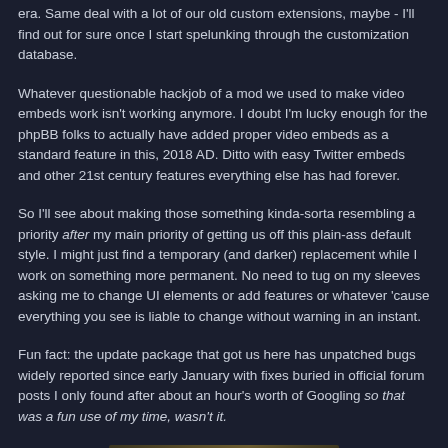era. Same deal with a lot of our old custom extensions, maybe - I'll find out for sure once I start spelunking through the customization database.
Whatever questionable hackjob of a mod we used to make video embeds work isn't working anymore. I doubt I'm lucky enough for the phpBB folks to actually have added proper video embeds as a standard feature in this, 2018 AD. Ditto with easy Twitter embeds and other 21st century features everything else has had forever.
So I'll see about making those something kinda-sorta resembling a priority after my main priority of getting us off this plain-ass default style. I might just find a temporary (and darker) replacement while I work on something more permanent. No need to tug on my sleeves asking me to change UI elements or add features or whatever 'cause everything you see is liable to change without warning in an instant.
Fun fact: the update package that got us here has unpatched bugs widely reported since early January with fixes buried in official forum posts I only found after about an hour's worth of Googling so that was a fun use of my time, wasn't it.
[Figure (photo): Partial view of an image at the bottom of the page, appearing to show a brownish/tan textured surface]